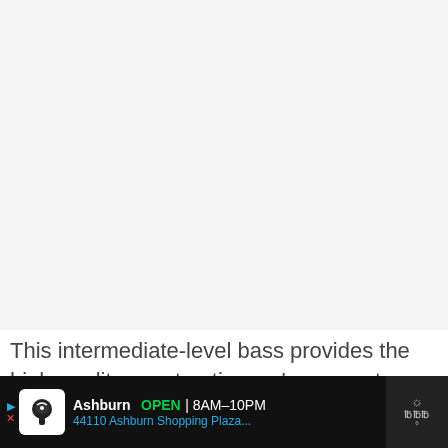[Figure (photo): Large image area showing a bass guitar product — mostly light gray/white placeholder]
This intermediate-level bass provides the high-quality construction we've come to expect from
[Figure (other): Advertisement bar: Ashburn OPEN 8AM–10PM, 44110 Ashburn Shopping Plaza... with chef icon, navigation arrow, and weather widget]